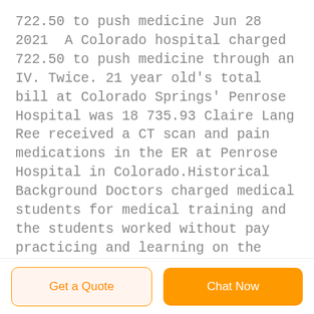722.50 to push medicine Jun 28 2021  A Colorado hospital charged 722.50 to push medicine through an IV. Twice. 21 year old's total bill at Colorado Springs' Penrose Hospital was 18 735.93 Claire Lang Ree received a CT scan and pain medications in the ER at Penrose Hospital in Colorado.Historical Background Doctors charged medical students for medical training and the students worked without pay practicing and learning on the poor. Steven B. Owens
Get a Quote
Chat Now